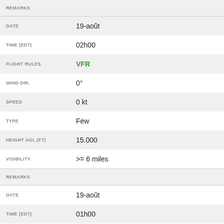| Field | Value |
| --- | --- |
| REMARKS |  |
| DATE | 19-août |
| TIME (EDT) | 02h00 |
| FLIGHT RULES | VFR |
| WIND DIR. | 0° |
| SPEED | 0 kt |
| TYPE | Few |
| HEIGHT AGL (FT) | 15.000 |
| VISIBILITY | >= 6 miles |
| REMARKS |  |
| DATE | 19-août |
| TIME (EDT) | 01h00 |
| FLIGHT RULES | VFR |
| WIND DIR. | 0° |
| SPEED | 0 kt |
| TYPE | Few |
| HEIGHT AGL (FT) | 15.000 |
| VISIBILITY | >= 6 miles |
| REMARKS |  |
| DATE | 19-août |